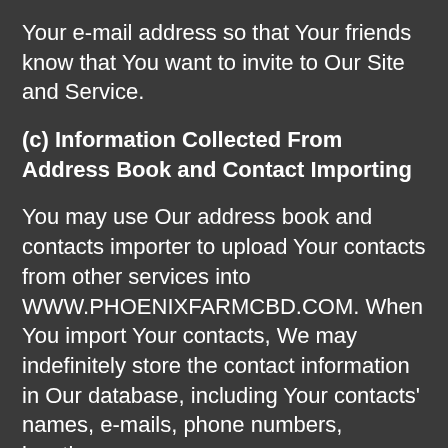Your e-mail address so that Your friends know that You want to invite to Our Site and Service.
(c) Information Collected From Address Book and Contact Importing
You may use Our address book and contacts importer to upload Your contacts from other services into WWW.PHOENIXFARMCBD.COM. When You import Your contacts, We may indefinitely store the contact information in Our database, including Your contacts' names, e-mails, phone numbers, locations,